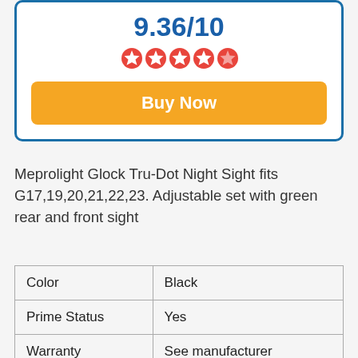9.36/10
[Figure (illustration): Five red star rating icons]
Buy Now
Meprolight Glock Tru-Dot Night Sight fits G17,19,20,21,22,23. Adjustable set with green rear and front sight
| Color | Black |
| Prime Status | Yes |
| Warranty | See manufacturer |
| Brand | Meprolight |